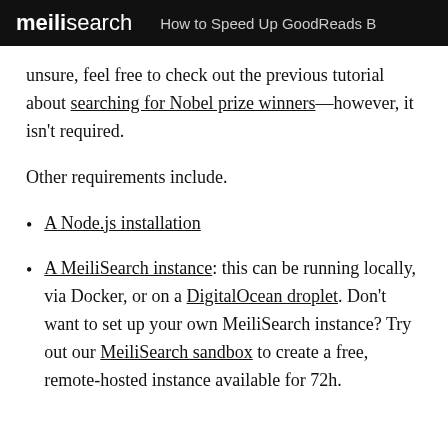meilisearch   How to Speed Up GoodReads B
unsure, feel free to check out the previous tutorial about searching for Nobel prize winners—however, it isn't required.
Other requirements include.
A Node.js installation
A MeiliSearch instance: this can be running locally, via Docker, or on a DigitalOcean droplet. Don't want to set up your own MeiliSearch instance? Try out our MeiliSearch sandbox to create a free, remote-hosted instance available for 72h.